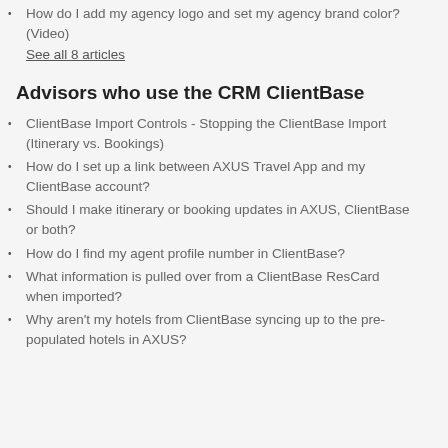How do I add my agency logo and set my agency brand color? (Video)
See all 8 articles
Advisors who use the CRM ClientBase
ClientBase Import Controls - Stopping the ClientBase Import (Itinerary vs. Bookings)
How do I set up a link between AXUS Travel App and my ClientBase account?
Should I make itinerary or booking updates in AXUS, ClientBase or both?
How do I find my agent profile number in ClientBase?
What information is pulled over from a ClientBase ResCard when imported?
Why aren't my hotels from ClientBase syncing up to the pre-populated hotels in AXUS?